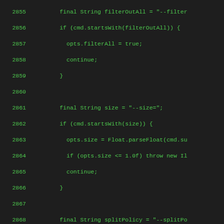Code listing lines 2855-2883, Java source code with line numbers. Shows string parsing and option setting logic for filterOutAll, size, splitPolicy, randomSleep, and measureAfter parameters.